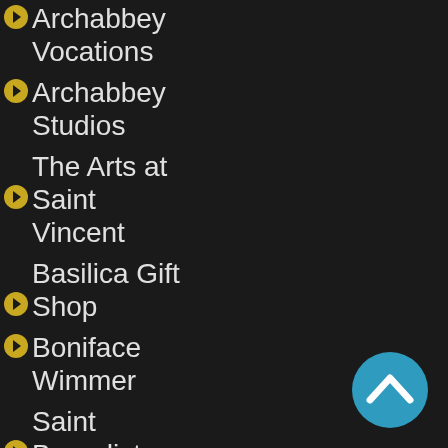Archabbey Vocations
Archabbey Studios
The Arts at Saint Vincent
Basilica Gift Shop
Boniface Wimmer
Saint Benedict Education Foundation
Saint Vincent Cemetery